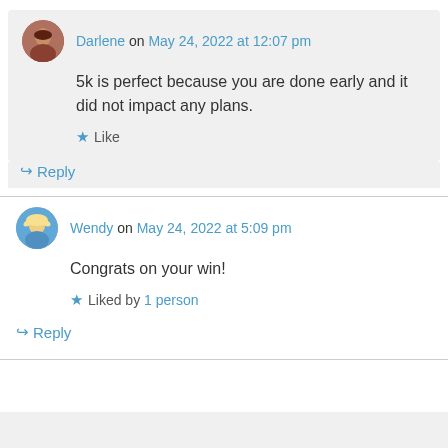Darlene on May 24, 2022 at 12:07 pm
5k is perfect because you are done early and it did not impact any plans.
Like
Reply
Wendy on May 24, 2022 at 5:09 pm
Congrats on your win!
Liked by 1 person
Reply